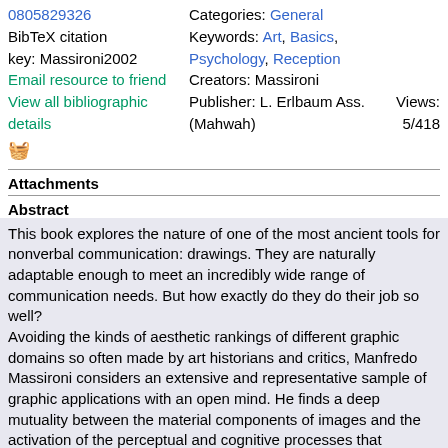etc.): 0805829326
BibTeX citation key: Massironi2002
Email resource to friend
View all bibliographic details
Categories: General
Keywords: Art, Basics, Psychology, Reception
Creators: Massironi
Publisher: L. Erlbaum Ass. (Mahwah)
Views: 5/418
Attachments
Abstract
This book explores the nature of one of the most ancient tools for nonverbal communication: drawings. They are naturally adaptable enough to meet an incredibly wide range of communication needs. But how exactly do they do their job so well?
Avoiding the kinds of aesthetic rankings of different graphic domains so often made by art historians and critics, Manfredo Massironi considers an extensive and representative sample of graphic applications with an open mind. He finds a deep mutuality between the material components of images and the activation of the perceptual and cognitive processes that